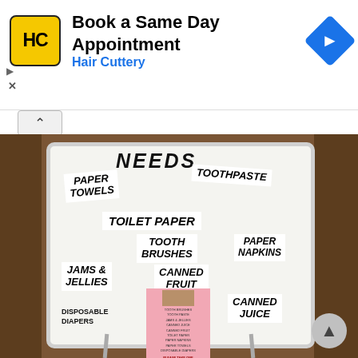[Figure (screenshot): Advertisement banner for Hair Cuttery showing logo, text 'Book a Same Day Appointment / Hair Cuttery', and blue navigation diamond icon]
[Figure (photo): Photo of a whiteboard on an easel with paper label stickers listing household needs: PAPER TOWELS, TOOTHPASTE, TOILET PAPER, TOOTH BRUSHES, PAPER NAPKINS, JAMS & JELLIES, CANNED FRUIT, CANNED JUICE, DISPOSABLE DIAPERS. A pink flyer hangs at the bottom of the board listing the same items with 'PLEASE TAKE ONE'.]